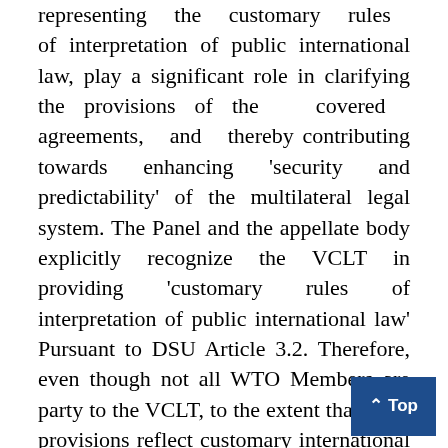representing the customary rules of interpretation of public international law, play a significant role in clarifying the provisions of the covered agreements, and thereby contributing towards enhancing 'security and predictability' of the multilateral legal system. The Panel and the appellate body explicitly recognize the VCLT in providing 'customary rules of interpretation of public international law' Pursuant to DSU Article 3.2. Therefore, even though not all WTO Members are party to the VCLT, to the extent that these provisions reflect customary international law, they are binding on all WTO Members.
B.    Evidence of Compliance with Obligations.   Other non WTO public